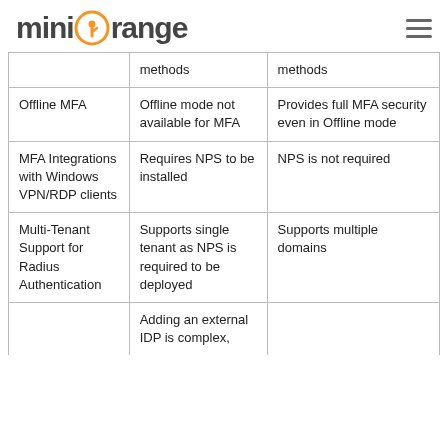[Figure (logo): miniOrange logo with orange circular icon between 'mini' and 'range' text]
|  | methods | methods |
| Offline MFA | Offline mode not available for MFA | Provides full MFA security even in Offline mode |
| MFA Integrations with Windows VPN/RDP clients | Requires NPS to be installed | NPS is not required |
| Multi-Tenant Support for Radius Authentication | Supports single tenant as NPS is required to be deployed | Supports multiple domains |
|  | Adding an external IDP is complex, |  |